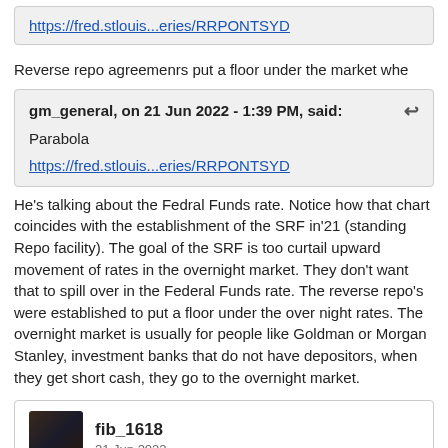https://fred.stlouis...eries/RRPONTSYD
Reverse repo agreemenrs put a floor under the market whe
gm_general, on 21 Jun 2022 - 1:39 PM, said:
Parabola
https://fred.stlouis...eries/RRPONTSYD
He's talking about the Fedral Funds rate. Notice how that chart coincides with the establishment of the SRF in'21 (standing Repo facility). The goal of the SRF is too curtail upward movement of rates in the overnight market. They don't want that to spill over in the Federal Funds rate. The reverse repo's were established to put a floor under the over night rates. The overnight market is usually for people like Goldman or Morgan Stanley, investment banks that do not have depositors, when they get short cash, they go to the overnight market.
fib_1618
21 Jun 2022